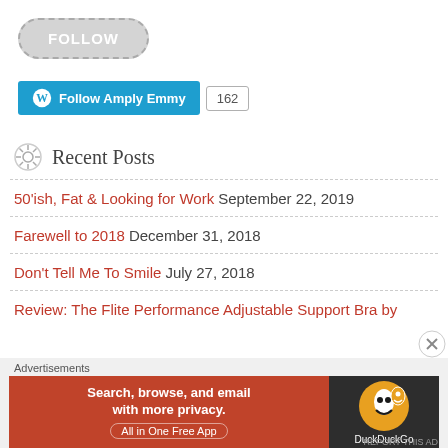[Figure (other): FOLLOW button with dashed border rounded rectangle in gray]
[Figure (other): WordPress Follow Amply Emmy button in blue with follower count 162]
Recent Posts
50'ish, Fat & Looking for Work September 22, 2019
Farewell to 2018 December 31, 2018
Don't Tell Me To Smile July 27, 2018
Review: The Flite Performance Adjustable Support Bra by
[Figure (other): DuckDuckGo advertisement banner: Search, browse, and email with more privacy. All in One Free App]
Advertisements